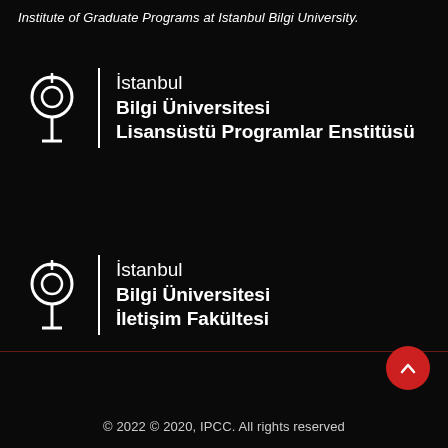Institute of Graduate Programs at Istanbul Bilgi University.
[Figure (logo): Istanbul Bilgi University logo with pin icon, vertical divider, and text: İstanbul Bilgi Üniversitesi Lisansüstü Programlar Enstitüsü]
[Figure (logo): Istanbul Bilgi University logo with pin icon, vertical divider, and text: İstanbul Bilgi Üniversitesi İletişim Fakültesi]
© 2022 © 2020, IPCC. All rights reserved